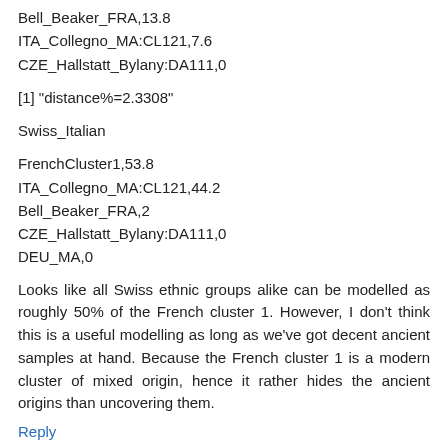Bell_Beaker_FRA,13.8
ITA_Collegno_MA:CL121,7.6
CZE_Hallstatt_Bylany:DA111,0
[1] "distance%=2.3308"
Swiss_Italian
FrenchCluster1,53.8
ITA_Collegno_MA:CL121,44.2
Bell_Beaker_FRA,2
CZE_Hallstatt_Bylany:DA111,0
DEU_MA,0
Looks like all Swiss ethnic groups alike can be modelled as roughly 50% of the French cluster 1. However, I don't think this is a useful modelling as long as we've got decent ancient samples at hand. Because the French cluster 1 is a modern cluster of mixed origin, hence it rather hides the ancient origins than uncovering them.
Reply